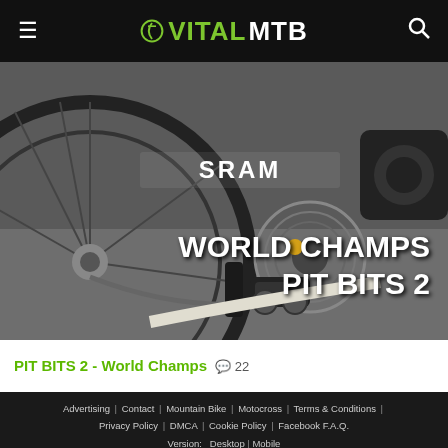VITALMTB
[Figure (photo): Close-up photo of mountain bike drivetrain components including SRAM derailleur, chain, and cassette with overlay text 'WORLD CHAMPS PIT BITS 2']
PIT BITS 2 - World Champs  💬22
Advertising | Contact | Mountain Bike | Motocross | Terms & Conditions | Privacy Policy | DMCA | Cookie Policy | Facebook F.A.Q. Version: Desktop | Mobile Accessibility Statement Accessibility Widget: On | Off © 2022 Vital Media Network, Inc.